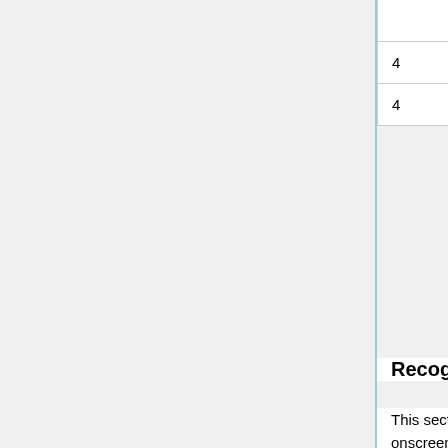|  |  |  |
| --- | --- | --- |
|  |  | 3-16 |
| 4 | Anim | Random in lists 3-16 |
| 4 | Switch | Lists 1-2. remainder random in 3-16 |
Recognition
This section tests the participant's recognition of words. During each trial, words are presented onscreen one at a time. For each word, participants are asked to report vocally whether or not they recognize the word from that day's session by saying "PESS" for YES and "PO" for No, and how confident they are in that response, using a scale of least confident (1) to most confident (5). Then, the participant receives immediate